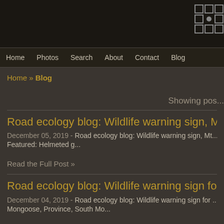Home  Photos  Search  About  Contact  Blog
Home » Blog
Showing pos...
Road ecology blog: Wildlife warning sign, Mt C...
December 05, 2019 - Road ecology blog: Wildlife warning sign, Mt... Featured: Helmeted g...
Read the Full Post »
Road ecology blog: Wildlife warning sign for co...
December 04, 2019 - Road ecology blog: Wildlife warning sign for ... Mongoose, Province, South Mo...